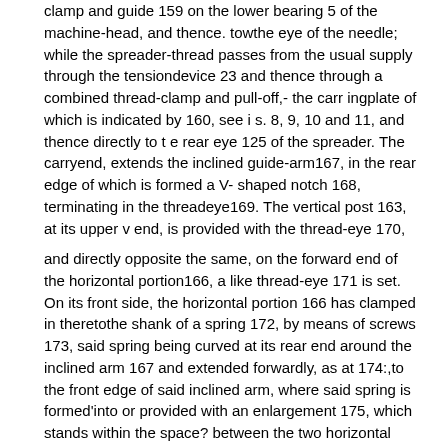clamp and guide 159 on the lower bearing 5 of the machine-head, and thence. towthe eye of the needle; while the spreader-thread passes from the usual supply through the tensiondevice 23 and thence through a combined thread-clamp and pull-off,- the carr ingplate of which is indicated by 160, see i s. 8, 9, 10 and 11, and thence directly to t e rear eye 125 of the spreader. The carryend, extends the inclined guide-arm167, in the rear edge of which is formed a V- shaped notch 168, terminating in the threadeye169. The vertical post 163, at its upper v end, is provided with the thread-eye 170,
and directly opposite the same, on the forward end of the horizontal portion166, a like thread-eye 171 is set. On its front side, the horizontal portion 166 has clamped in theretothe shank of a spring 172, by means of screws 173, said spring being curved at its rear end around the inclined arm 167 and extended forwardly, as at 174:,to the front edge of said inclined arm, where said spring is formedinto or provided with an enlargement 175, which stands within the space? between the two horizontal arms 164: and 166. The spreader-thread, extending front-the tension 23,- runs to the thread- .29 guide-170, thence to the thread-guide171,